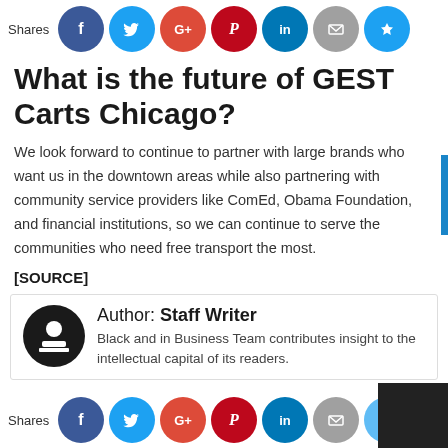[Figure (infographic): Top social share bar with icons: Facebook (blue), Twitter (light blue), Google+ (red), Pinterest (dark red), LinkedIn (blue), Email (gray), Crown/bookmark (blue). Label 'Shares' on left.]
What is the future of GEST Carts Chicago?
We look forward to continue to partner with large brands who want us in the downtown areas while also partnering with community service providers like ComEd, Obama Foundation, and financial institutions, so we can continue to serve the communities who need free transport the most.
[SOURCE]
Author: Staff Writer
Black and in Business Team contributes insight to the intellectual capital of its readers.
[Figure (infographic): Bottom social share bar with icons: Facebook (blue), Twitter (light blue), Google+ (red), Pinterest (dark red), LinkedIn (blue), Email (gray), Crown/bookmark (blue). Label 'Shares' on left. Dark overlay in bottom right corner.]